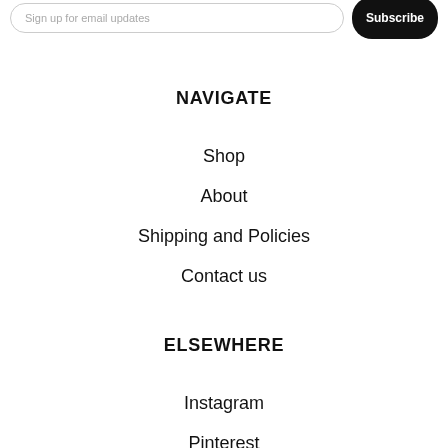Sign up for email updates  Subscribe
NAVIGATE
Shop
About
Shipping and Policies
Contact us
ELSEWHERE
Instagram
Pinterest
Facebook